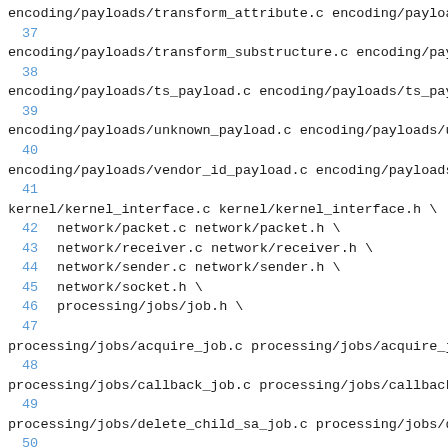encoding/payloads/transform_attribute.c encoding/payload...
    37
encoding/payloads/transform_substructure.c encoding/payl...
    38
encoding/payloads/ts_payload.c encoding/payloads/ts_payl...
    39
encoding/payloads/unknown_payload.c encoding/payloads/un...
    40
encoding/payloads/vendor_id_payload.c encoding/payloads/...
    41
kernel/kernel_interface.c kernel/kernel_interface.h \
    42 network/packet.c network/packet.h \
    43 network/receiver.c network/receiver.h \
    44 network/sender.c network/sender.h \
    45 network/socket.h \
    46 processing/jobs/job.h \
    47
processing/jobs/acquire_job.c processing/jobs/acquire_jo...
    48
processing/jobs/callback_job.c processing/jobs/callback_...
    49
processing/jobs/delete_child_sa_job.c processing/jobs/de...
    50
processing/jobs/delete_ike_sa_job.c processing/jobs/dele...
    51